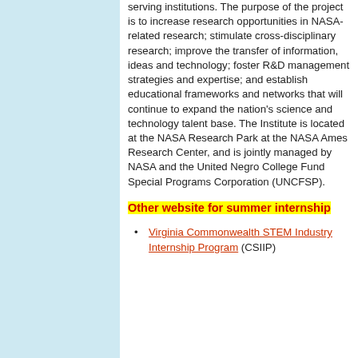serving institutions. The purpose of the project is to increase research opportunities in NASA-related research; stimulate cross-disciplinary research; improve the transfer of information, ideas and technology; foster R&D management strategies and expertise; and establish educational frameworks and networks that will continue to expand the nation's science and technology talent base. The Institute is located at the NASA Research Park at the NASA Ames Research Center, and is jointly managed by NASA and the United Negro College Fund Special Programs Corporation (UNCFSP).
Other website for summer internship
Virginia Commonwealth STEM Industry Internship Program (CSIIP)